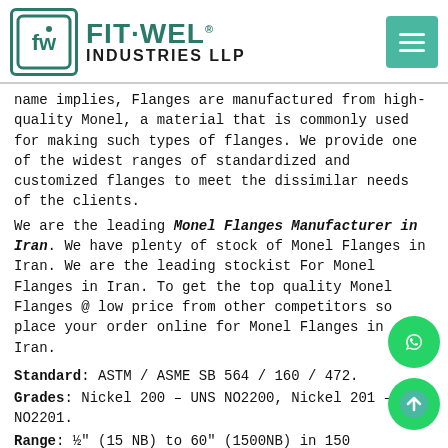[Figure (logo): Fit-Wel Industries LLP logo with green square logo mark and company name, plus green hamburger menu button top right]
name implies, Flanges are manufactured from high-quality Monel, a material that is commonly used for making such types of flanges. We provide one of the widest ranges of standardized and customized flanges to meet the dissimilar needs of the clients.
We are the leading Monel Flanges Manufacturer in Iran. We have plenty of stock of Monel Flanges in Iran. We are the leading stockist For Monel Flanges in Iran. To get the top quality Monel Flanges @ low price from other competitors so place your order online for Monel Flanges in Iran.
Standard: ASTM / ASME SB 564 / 160 / 472.
Grades: Nickel 200 – UNS NO2200, Nickel 201 – UNS NO2201.
Range: ½" (15 NB) to 60" (1500NB) in 150 LBS, 300 LBS, 600 LBS, 900 LBS, 1500 LBS, 2500 LBS ASA 150, ASA 300, PN 6/10/16/25/40/63/100/160 ETC. available with NACE MR 01 75